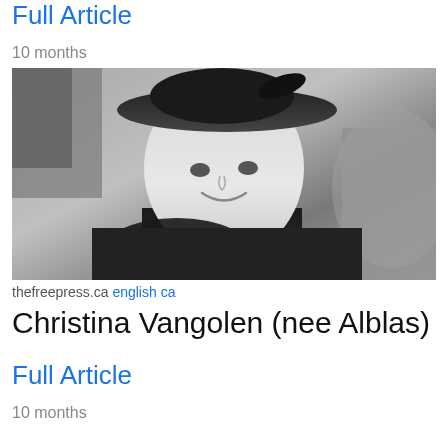Full Article
10 months
[Figure (photo): Black and white photograph of a young woman wearing a wide-brimmed hat and dark clothing, smiling at the camera]
thefreepress.ca english ca
Christina Vangolen (nee Alblas)
Full Article
10 months